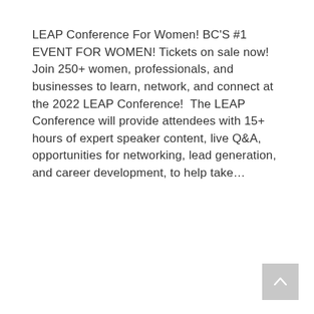LEAP Conference For Women! BC'S #1 EVENT FOR WOMEN! Tickets on sale now! Join 250+ women, professionals, and businesses to learn, network, and connect at the 2022 LEAP Conference!  The LEAP Conference will provide attendees with 15+ hours of expert speaker content, live Q&A, opportunities for networking, lead generation, and career development, to help take...
Read More